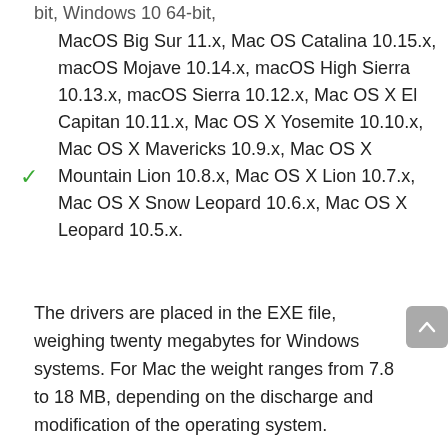bit, Windows 10 64-bit,
MacOS Big Sur 11.x, Mac OS Catalina 10.15.x, macOS Mojave 10.14.x, macOS High Sierra 10.13.x, macOS Sierra 10.12.x, Mac OS X El Capitan 10.11.x, Mac OS X Yosemite 10.10.x, Mac OS X Mavericks 10.9.x, Mac OS X Mountain Lion 10.8.x, Mac OS X Lion 10.7.x, Mac OS X Snow Leopard 10.6.x, Mac OS X Leopard 10.5.x.
The drivers are placed in the EXE file, weighing twenty megabytes for Windows systems. For Mac the weight ranges from 7.8 to 18 MB, depending on the discharge and modification of the operating system.